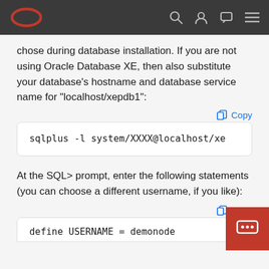Oracle navigation bar with logo and icons
chose during database installation. If you are not using Oracle Database XE, then also substitute your database's hostname and database service name for "localhost/xepdb1":
Copy
sqlplus -l system/XXXX@localhost/xe
At the SQL> prompt, enter the following statements (you can choose a different username, if you like):
Copy
define USERNAME = demonode